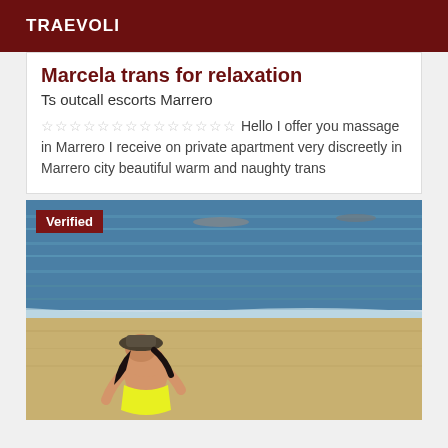TRAEVOLI
Marcela trans for relaxation
Ts outcall escorts Marrero
☆☆☆☆☆☆☆☆☆☆☆☆☆☆ Hello I offer you massage in Marrero I receive on private apartment very discreetly in Marrero city beautiful warm and naughty trans
[Figure (photo): Person in yellow bikini and hat on a beach, with blue ocean water in the background. 'Verified' badge in top-left corner.]